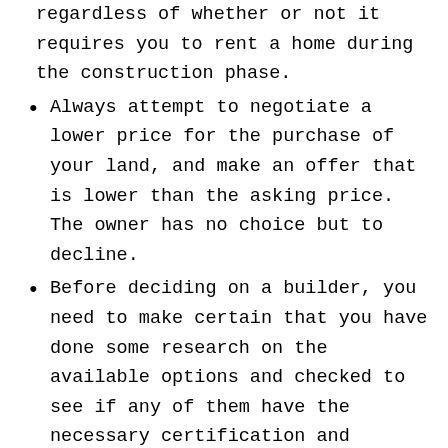thousands of dollars in the long run, regardless of whether or not it requires you to rent a home during the construction phase.
Always attempt to negotiate a lower price for the purchase of your land, and make an offer that is lower than the asking price. The owner has no choice but to decline.
Before deciding on a builder, you need to make certain that you have done some research on the available options and checked to see if any of them have the necessary certification and insurance. Ask the builder for references, but don't stop there, check family, friends and local